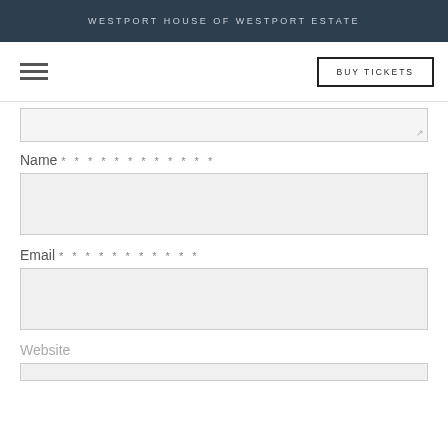WESTPORT HOUSE OF WESTPORT ESTATE
[Figure (other): Navigation bar with hamburger menu icon on the left and BUY TICKETS button on the right]
Name * * * * * * * * * * * *
[Figure (other): Name text input field box]
Email * * * * * * * * * * *
[Figure (other): Email text input field box]
Website